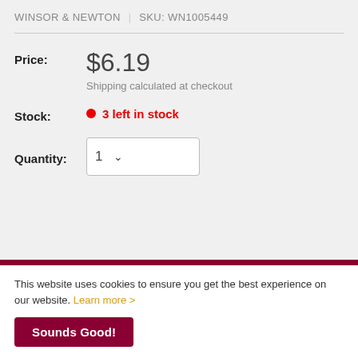WINSOR & NEWTON | SKU: WN1005449
Price: $6.19
Shipping calculated at checkout
Stock: 3 left in stock
Quantity: 1
This website uses cookies to ensure you get the best experience on our website. Learn more >
Sounds Good!